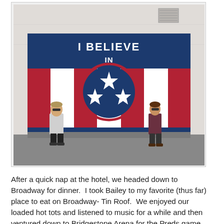[Figure (photo): Two women standing in front of a large outdoor mural that reads 'I BELIEVE IN NASHVILLE' with a Tennessee state flag motif (blue circle with three stars on red and white stripes background). Both women are wearing sunglasses.]
After a quick nap at the hotel, we headed down to Broadway for dinner.  I took Bailey to my favorite (thus far) place to eat on Broadway- Tin Roof.  We enjoyed our loaded hot tots and listened to music for a while and then ventured down to Bridgestone Arena for the Preds game.  After the first period,